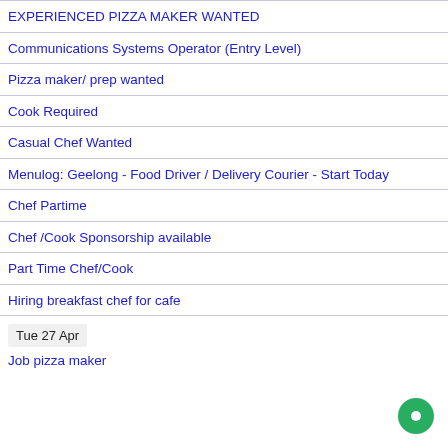EXPERIENCED PIZZA MAKER WANTED
Communications Systems Operator (Entry Level)
Pizza maker/ prep wanted
Cook Required
Casual Chef Wanted
Menulog: Geelong - Food Driver / Delivery Courier - Start Today
Chef Partime
Chef /Cook Sponsorship available
Part Time Chef/Cook
Hiring breakfast chef for cafe
Tue 27 Apr
Job pizza maker